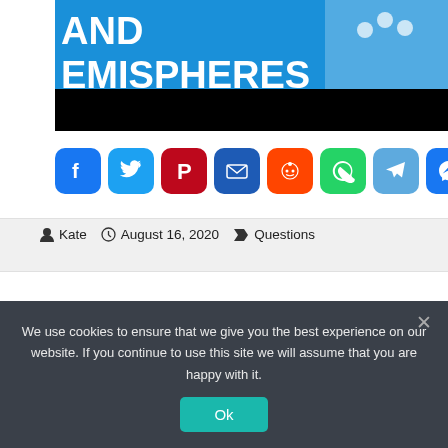[Figure (photo): Partial book cover showing text 'AND HEMISPHERES' with a person holding flowers on a blue background, with a black bar partially covering the bottom]
[Figure (infographic): Row of 8 social sharing buttons: Facebook, Twitter, Pinterest, Email, Reddit, WhatsApp, Telegram, Messenger]
Kate   August 16, 2020   Questions
We use cookies to ensure that we give you the best experience on our website. If you continue to use this site we will assume that you are happy with it.
Ok